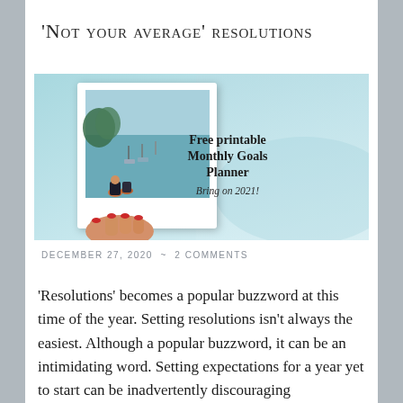'Not your average' resolutions
[Figure (photo): Blog post banner image with a light blue/teal background. On the left, a hand holding a Polaroid-style photo showing a harbor scene with boats and people. On the right, bold serif text reads 'Free printable Monthly Goals Planner' with italic text below reading 'Bring on 2021!']
DECEMBER 27, 2020 ~ 2 COMMENTS
'Resolutions' becomes a popular buzzword at this time of the year. Setting resolutions isn't always the easiest. Although a popular buzzword, it can be an intimidating word. Setting expectations for a year yet to start can be inadvertently discouraging